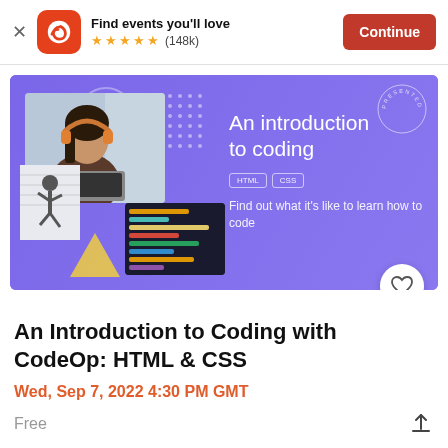Find events you'll love ★★★★★ (148k) Continue
[Figure (screenshot): Eventbrite app promotional banner showing 'An introduction to coding' event with HTML and CSS tags, a woman with headphones, and text 'Find out what it's like to learn how to code'. Purple background with photo collage.]
An Introduction to Coding with CodeOp: HTML & CSS
Wed, Sep 7, 2022 4:30 PM GMT
Free